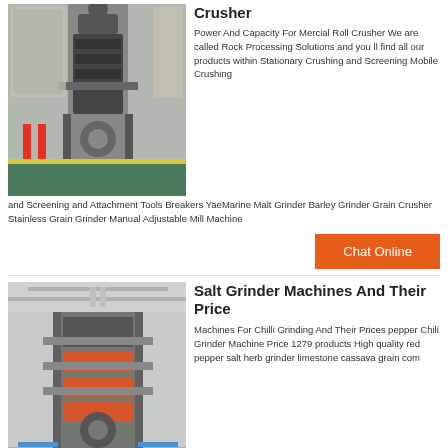[Figure (photo): Industrial crusher machine photographed inside a factory/warehouse with yellow striped floor markings]
Crusher
Power And Capacity For Mercial Roll Crusher We are called Rock Processing Solutions and you ll find all our products within Stationary Crushing and Screening Mobile Crushing and Screening and Attachment Tools Breakers YaeMarine Malt Grinder Barley Grinder Grain Crusher Stainless Grain Grinder Manual Adjustable Mill Machine
[Figure (other): Chat Online orange button]
[Figure (photo): Large industrial grinding machine inside a factory building with high ceilings and structural beams]
Salt Grinder Machines And Their Price
Machines For Chilli Grinding And Their Prices pepper Chili Grinder Machine Price 1279 products High quality red pepper salt herb grinder limestone cassava grain com